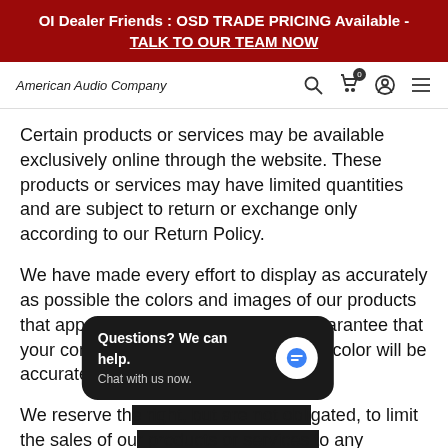OI Dealer Friends : OSD TRADE PRICING Available - TALK TO OUR TEAM NOW
American Audio Company
Certain products or services may be available exclusively online through the website. These products or services may have limited quantities and are subject to return or exchange only according to our Return Policy.
We have made every effort to display as accurately as possible the colors and images of our products that appear at the store. We cannot guarantee that your computer monitor's display of any color will be accurate.
We reserve th[e right, but are not obli]gated, to limit the sales of ou[r products or services t]o any person, geographic region or jurisdiction. We may exercise